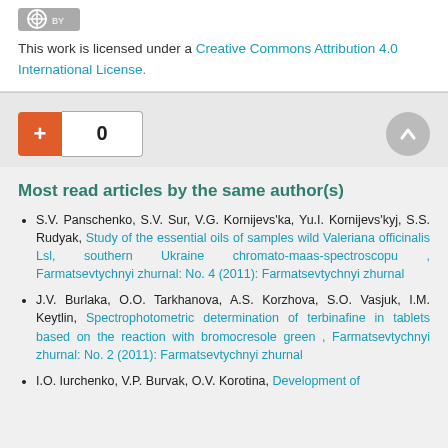[Figure (logo): Creative Commons BY license logo]
This work is licensed under a Creative Commons Attribution 4.0 International License.
[Figure (infographic): Orange plus button with count box showing 0, and a gray circular up-arrow button]
Most read articles by the same author(s)
S.V. Panschenko, S.V. Sur, V.G. Kornijevs'ka, Yu.I. Kornijevs'kyj, S.S. Rudyak, Study of the essential oils of samples wild Valeriana officinalis Lsl, southern Ukraine chromato-maas-spectroscopu , Farmatsevtychnyi zhurnal: No. 4 (2011): Farmatsevtychnyi zhurnal
J.V. Burlaka, O.O. Tarkhanova, A.S. Korzhova, S.O. Vasjuk, I.M. Keytlin, Spectrophotometric determination of terbinafine in tablets based on the reaction with bromocresole green , Farmatsevtychnyi zhurnal: No. 2 (2011): Farmatsevtychnyi zhurnal
I.O. Iurchenko, V.P. Burvak, O.V. Korotina, Development of